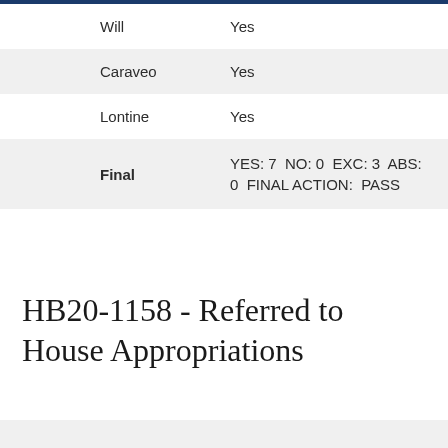| Name | Vote |
| --- | --- |
| Will | Yes |
| Caraveo | Yes |
| Lontine | Yes |
| Final | YES: 7  NO: 0  EXC: 3  ABS: 0  FINAL ACTION: PASS |
HB20-1158 - Referred to House Appropriations